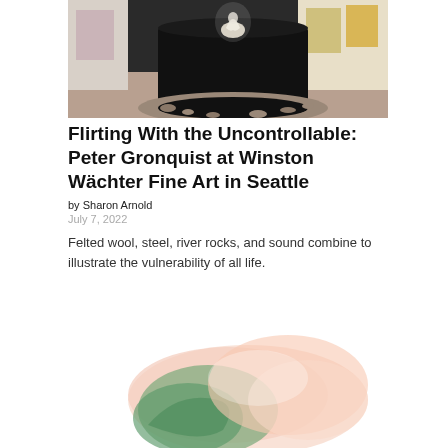[Figure (photo): Gallery installation showing a large black cylindrical sculpture surrounded by river rocks on the floor, with a glowing figure on top, artwork visible on walls in background]
Flirting With the Uncontrollable: Peter Gronquist at Winston Wächter Fine Art in Seattle
by Sharon Arnold
July 7, 2022
Felted wool, steel, river rocks, and sound combine to illustrate the vulnerability of all life.
[Figure (photo): Close-up of a soft sculptural art piece in pastel tones of peach and green, appearing to be made of felted wool]